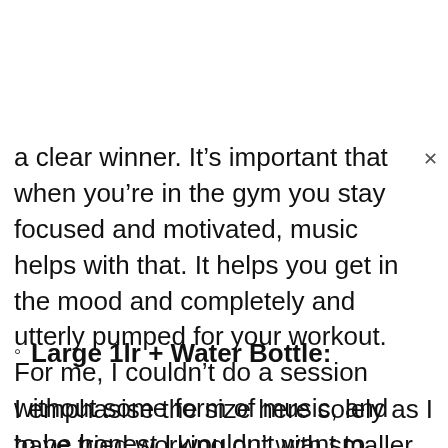a clear winner. It's important that when you're in the gym you stay focused and motivated, music helps with that. It helps you get in the mood and completely and utterly pumped for your workout. For me, I couldn't do a session without some form of music, and to be honest I wouldn't want to. This is why I always make sure in my gym bag there are both a wired and wireless set of earphones/ headphones.
Large 1lr + Water Bottle:
I emphasise the size here solely as I have tried working out with smaller sizes and it's extremely